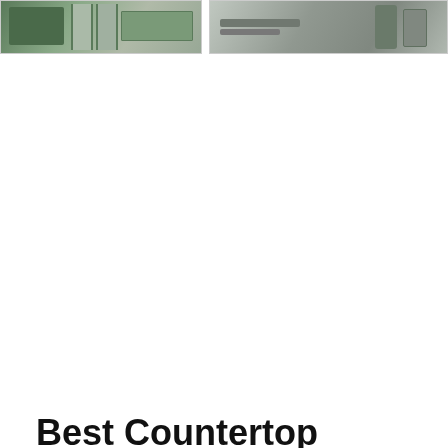[Figure (photo): Two side-by-side photos of water filtration/reverse osmosis equipment in an industrial or commercial setting. Left image shows green and metallic cylindrical tanks. Right image shows piping and mechanical components.]
Best Countertop Reverse Osmosis ... - Water Filter Guru
2021-10-19u2002·u2002Some reverse osmosis water filtration system models also have an alkaline remineralization filter, which reintroduces healthy minerals to filtered water before it comes out of the spout for drinking, giving it a more appealing alkaline taste. ???? Advantages. Reverse osmosis is one of the most tried